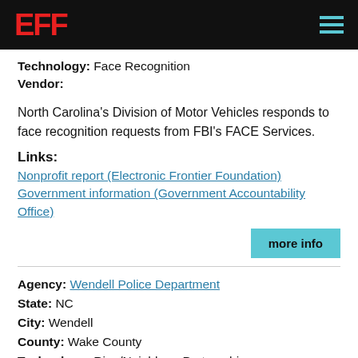EFF
Technology: Face Recognition
Vendor:
North Carolina's Division of Motor Vehicles responds to face recognition requests from FBI's FACE Services.
Links:
Nonprofit report (Electronic Frontier Foundation)
Government information (Government Accountability Office)
more info
Agency: Wendell Police Department
State: NC
City: Wendell
County: Wake County
Technology: Ring/Neighbors Partnership
Vendor: Ring